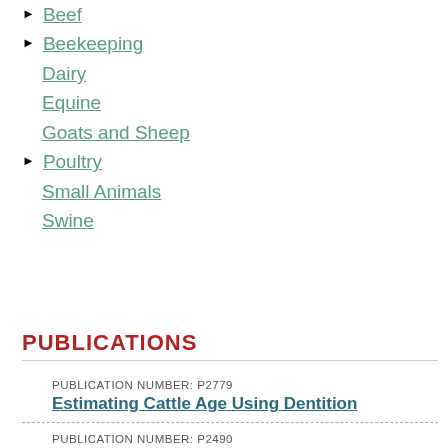Beef
Beekeeping
Dairy
Equine
Goats and Sheep
Poultry
Small Animals
Swine
[Figure (other): Print PDF button - green button with printer icon and PDF icon]
PUBLICATIONS
PUBLICATION NUMBER: P2779
Estimating Cattle Age Using Dentition
PUBLICATION NUMBER: P2490
Beef Cattle Water Requirements and Source Management